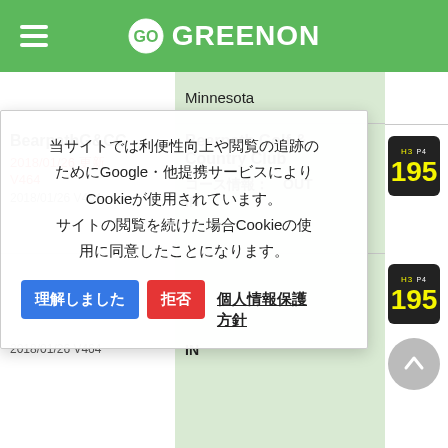GREENON
Minnesota
BearpathG&CC
2018/01/26 更新 V464
2018/01/26 V464
Bearpath Golf & Country Club
コース情報： OUT
IN
[Figure (other): Score badge: H3 P4 195]
[Figure (other): Score badge: H3 P4 195]
当サイトでは利便性向上や閲覧の追跡のためにGoogle・他提携サービスによりCookieが使用されています。
サイトの閲覧を続けた場合Cookieの使用に同意したことになります。
理解しました　拒否　個人情報保護方針
2018/01/26 V464
IN